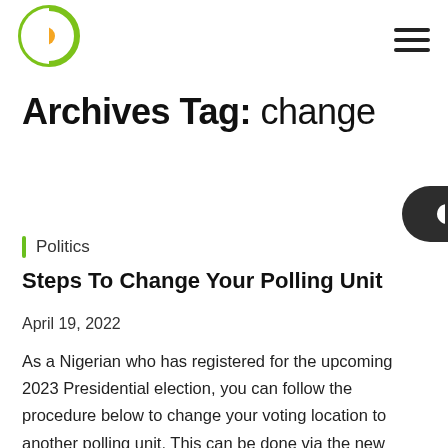Logo and navigation header
Archives Tag: change
Politics
Steps To Change Your Polling Unit
April 19, 2022
As a Nigerian who has registered for the upcoming 2023 Presidential election, you can follow the procedure below to change your voting location to another polling unit. This can be done via the new INEC continuous voter registration portal. As part of the voter registration